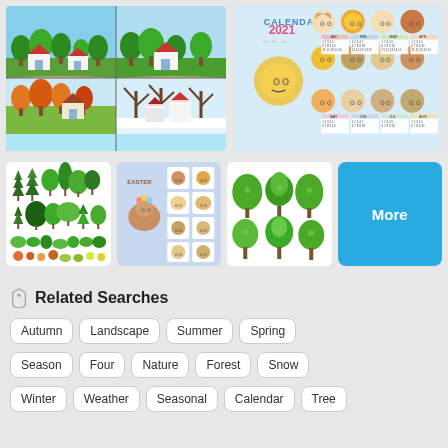[Figure (illustration): Four seasons landscape illustration: spring/summer with green trees and red-roof houses top-left, autumn with orange trees bottom-left, winter with snow bottom-right, blue sky/water area bottom]
[Figure (illustration): Calendar 2021 with cute animal characters (bear, lion, monkey, koala, llama, sloth, etc.) arranged in a grid layout with monthly calendar grids]
[Figure (illustration): Collection of cartoon trees in various styles: pine trees, deciduous trees, bushes, plants in green tones]
[Figure (illustration): Easter/spring calendar with cute hedgehog character and small animal stickers]
[Figure (illustration): Collection of green rounded cartoon trees]
[Figure (other): Blue More button]
Related Searches
Autumn
Landscape
Summer
Spring
Season
Four
Nature
Forest
Snow
Winter
Weather
Seasonal
Calendar
Tree